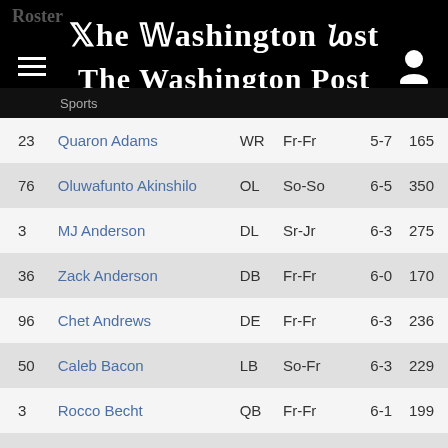The Washington Post — Democracy Dies in Darkness
| # | Name | Pos | Year | Ht | Wt |
| --- | --- | --- | --- | --- | --- |
| 23 | Quaron Adams | WR | Fr-Fr | 5-7 | 165 |
| 76 | Oluwafunto Akinshilo | OL | So-So | 6-5 | 350 |
| 3 | MJ Anderson | DL | Sr-Jr | 6-3 | 275 |
| 36 | Zack Anderson | DB | Fr-Fr | 6-0 | 170 |
| 96 | Chet Andrews | DE | Fr-Fr | 6-3 | 236 |
| 50 | Caleb Bacon | LB | So-Fr | 6-3 | 229 |
| 3 | Rocco Becht | QB | Fr-Fr | 6-1 | 199 |
| 85 | Aidan Bitter | WR | Jr-So | 6-2 | 204 |